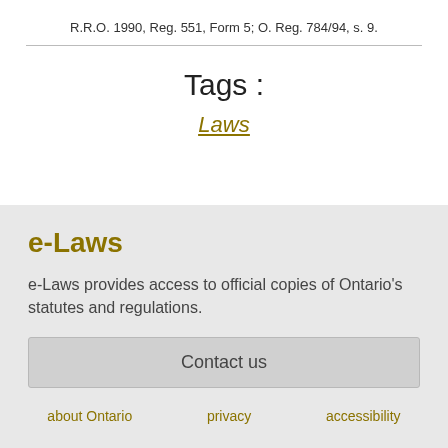R.R.O. 1990, Reg. 551, Form 5; O. Reg. 784/94, s. 9.
Tags :
Laws
e-Laws
e-Laws provides access to official copies of Ontario's statutes and regulations.
Contact us
about Ontario   privacy   accessibility